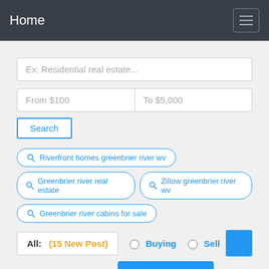Home
Ex: Residential real estate...
From $100
To $5,000
Search
Riverfront homes greenbrier river wv
Greenbrier river real estate
Zillow greenbrier river wv
Greenbrier river cabins for sale
All: (15 New Post)
Buying
Sell
Rent
Lease
Submit Your Post